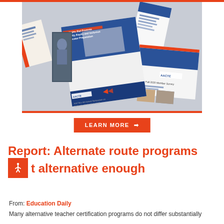[Figure (photo): A collage of AACTE educational publications, brochures and survey documents arranged in a scattered/fanned layout on a gray background. Includes documents about diversity, equity and inclusion in educator preparation, and a Fall 2020 Member Survey.]
LEARN MORE →
Report: Alternate route programs not alternative enough
From: Education Daily
Many alternative teacher certification programs do not differ substantially